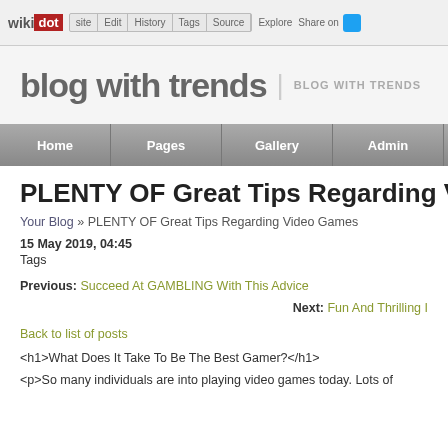wikidot | site | Edit | History | Tags | Source | Explore | Share on [Twitter]
blog with trends | BLOG WITH TRENDS
Home | Pages | Gallery | Admin | Help
PLENTY OF Great Tips Regarding Video Games
Your Blog » PLENTY OF Great Tips Regarding Video Games
15 May 2019, 04:45
Tags
Previous: Succeed At GAMBLING With This Advice
Next: Fun And Thrilling...
Back to list of posts
<h1>What Does It Take To Be The Best Gamer?</h1>
<p>So many individuals are into playing video games today. Lots of...